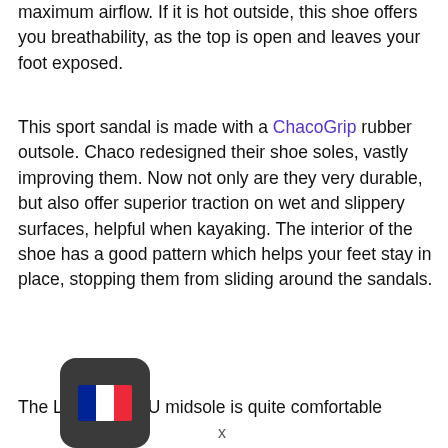maximum airflow. If it is hot outside, this shoe offers you breathability, as the top is open and leaves your foot exposed.
This sport sandal is made with a ChacoGrip rubber outsole. Chaco redesigned their shoe soles, vastly improving them. Now not only are they very durable, but also offer superior traction on wet and slippery surfaces, helpful when kayaking. The interior of the shoe has a good pattern which helps your feet stay in place, stopping them from sliding around the sandals.
The LUVSEAT PU midsole is quite comfortable
[Figure (other): A dark rounded square widget showing a French flag emoji/icon, resembling a browser language selector or translation widget. Below it is a close button marked with an x.]